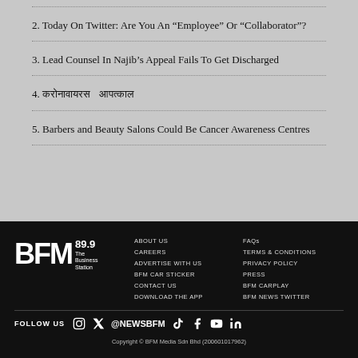2. Today On Twitter: Are You An “Employee” Or “Collaborator”?
3. Lead Counsel In Najib's Appeal Fails To Get Discharged
4. करोनावायरस   आपत्काल
5. Barbers and Beauty Salons Could Be Cancer Awareness Centres
BFM 89.9 The Business Station | ABOUT US | CAREERS | ADVERTISE WITH US | BFM CAR STICKER | CONTACT US | DOWNLOAD THE APP | FAQs | TERMS & CONDITIONS | PRIVACY POLICY | PRESS | BFM CARPLAY | BFM NEWS TWITTER | FOLLOW US @NEWSBFM | Copyright © BFM Media Sdn Bhd (200601017962)